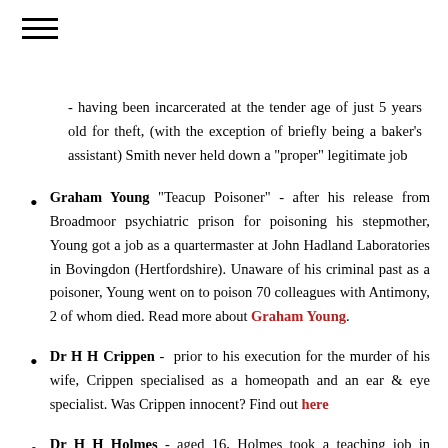- having been incarcerated at the tender age of just 5 years old for theft, (with the exception of briefly being a baker's assistant) Smith never held down a "proper" legitimate job
Graham Young "Teacup Poisoner" - after his release from Broadmoor psychiatric prison for poisoning his stepmother, Young got a job as a quartermaster at John Hadland Laboratories in Bovingdon (Hertfordshire). Unaware of his criminal past as a poisoner, Young went on to poison 70 colleagues with Antimony, 2 of whom died. Read more about Graham Young.
Dr H H Crippen - prior to his execution for the murder of his wife, Crippen specialised as a homeopath and an ear & eye specialist. Was Crippen innocent? Find out here
Dr H H Holmes - aged 16, Holmes took a teaching job in Gilmanton and later at Alton (both in New